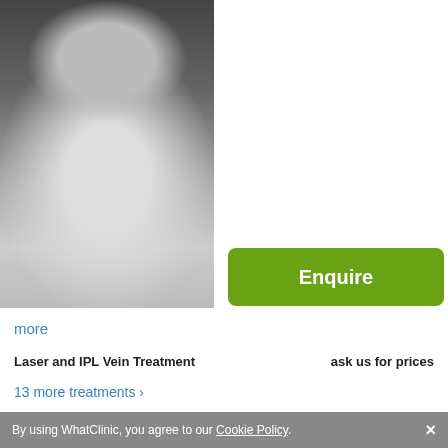[Figure (photo): Black and white photo of a male doctor wearing glasses and a white shirt]
Enquire
more
Laser and IPL Vein Treatment    ask us for prices
13 more treatments >
NG Aesthetics
9 Rue De Marignan, Paris, 75008
[Figure (photo): Photo of a woman, close-up of face and hair]
ServiceScore™
Satisfactory  5.5
By using WhatClinic, you agree to our Cookie Policy.  ×